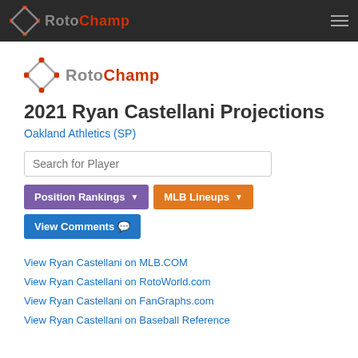RotoChamp
[Figure (logo): RotoChamp logo with diamond shape and text 'RotoChamp' where 'Champ' is in red/orange]
2021 Ryan Castellani Projections
Oakland Athletics (SP)
Search for Player
Position Rankings
MLB Lineups
View Comments
View Ryan Castellani on MLB.COM
View Ryan Castellani on RotoWorld.com
View Ryan Castellani on FanGraphs.com
View Ryan Castellani on Baseball Reference